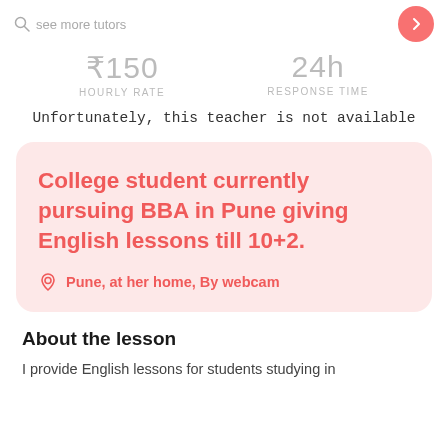See more tutors
₹150
HOURLY RATE
24h
RESPONSE TIME
Unfortunately, this teacher is not available
College student currently pursuing BBA in Pune giving English lessons till 10+2.
Pune, at her home, By webcam
About the lesson
I provide English lessons for students studying in